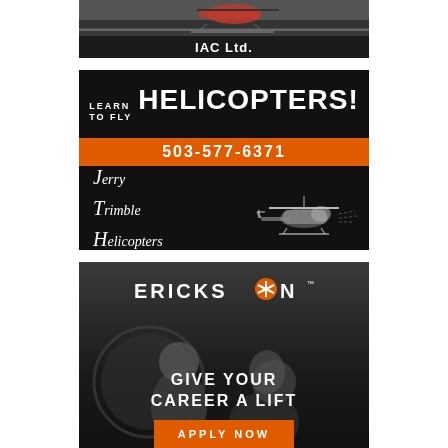[Figure (photo): IAC Ltd. advertisement with helicopter photo and dark banner with company name]
[Figure (infographic): Jerry Trimble Helicopters advertisement: 'LEARN TO FLY HELICOPTERS!' with phone number 503-577-6371, company name and logo, 'HOME OF THE TOUCHDOWN AUTO CONTEST']
[Figure (photo): Erickson advertisement with people in dark background, 'GIVE YOUR CAREER A LIFT' headline and 'APPLY NOW' orange button]